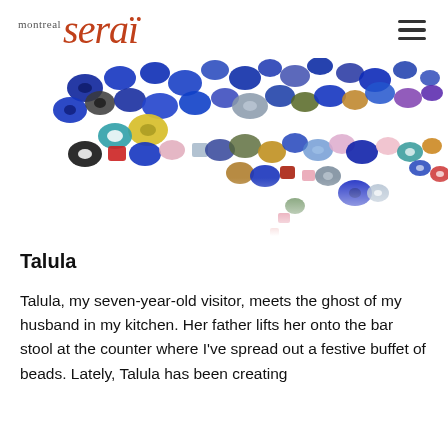montreal serai
[Figure (photo): A scattered collection of colorful glass beads of various sizes, shapes, and colors including blue, yellow, red, green, purple, and clear beads spread across a white background, denser at the top and scattered toward the bottom.]
Talula
Talula, my seven-year-old visitor, meets the ghost of my husband in my kitchen. Her father lifts her onto the bar stool at the counter where I've spread out a festive buffet of beads. Lately, Talula has been creating